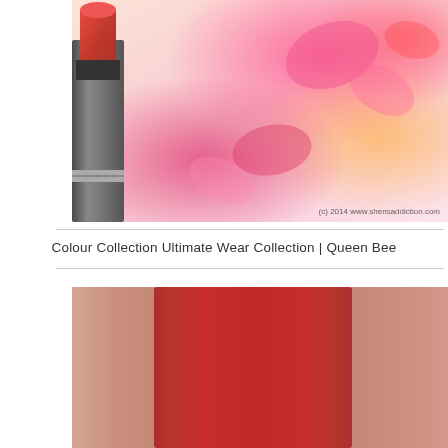[Figure (photo): Close-up photo of a red lipstick bullet with silver casing against a blurred floral background. Watermark reads: (c) 2014 www.shensaddiction.com]
Colour Collection Ultimate Wear Collection | Queen Bee
[Figure (photo): Arm swatch of a red lipstick shade showing a thick stripe of bright red-pink color applied to the inner wrist/arm on light skin tone.]